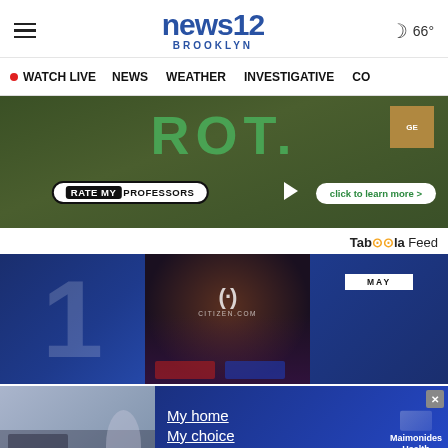news12 BROOKLYN — navigation header with hamburger menu and weather 66°
• WATCH LIVE   NEWS   WEATHER   INVESTIGATIVE   CO
[Figure (photo): Rate My Professors advertisement banner with green background, 'RATE MY PROFESSORS' badge and 'click to learn more >' button]
Taboola Feed
[Figure (screenshot): Three-panel content strip: left blue panel with large '1', center night photo with police lights and Citizen.com overlay, right blue panel with 'MAY' label]
[Figure (photo): Bottom advertisement: My home My choice — Maimonides Health — Yonkers Riverfest, Westche...]